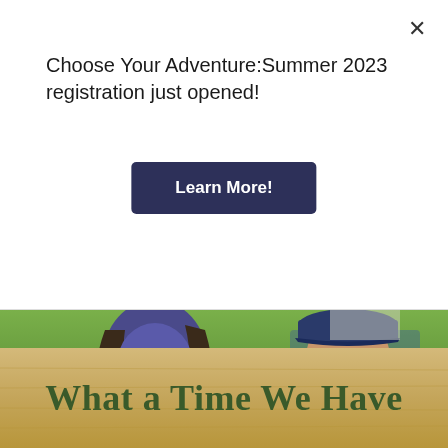Choose Your Adventure:Summer 2023 registration just opened!
Learn More!
[Figure (photo): Two people outdoors on green grass. A young man with blue/purple paint covering his face and upper body, smiling broadly. A boy wearing a blue cap and sunglasses giving a thumbs up, wearing a blue long-sleeve shirt.]
What a Time We Have